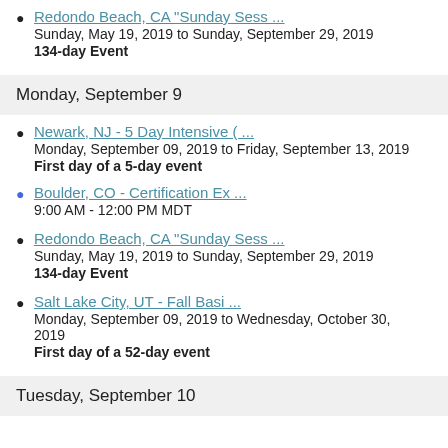Redondo Beach, CA "Sunday Sess ...
Sunday, May 19, 2019 to Sunday, September 29, 2019
134-day Event
Monday, September 9
Newark, NJ - 5 Day Intensive ( ...
Monday, September 09, 2019 to Friday, September 13, 2019
First day of a 5-day event
Boulder, CO - Certification Ex ...
9:00 AM - 12:00 PM MDT
Redondo Beach, CA "Sunday Sess ...
Sunday, May 19, 2019 to Sunday, September 29, 2019
134-day Event
Salt Lake City, UT - Fall Basi ...
Monday, September 09, 2019 to Wednesday, October 30, 2019
First day of a 52-day event
Tuesday, September 10